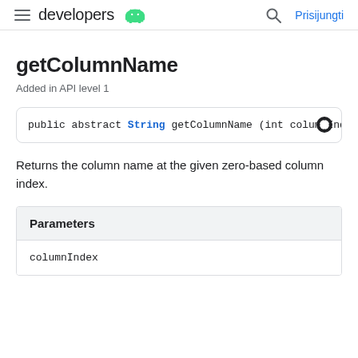developers | Prisijungti
getColumnName
Added in API level 1
public abstract String getColumnName (int columnIndex
Returns the column name at the given zero-based column index.
| Parameters |
| --- |
| columnIndex |